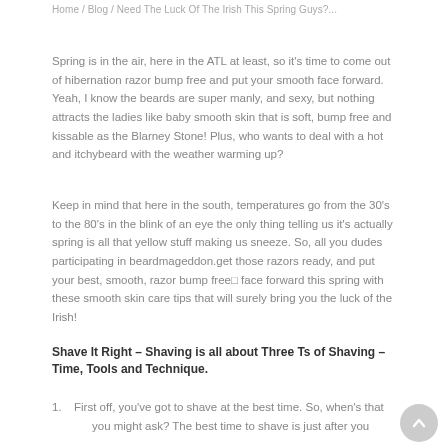Home / Blog / Need The Luck Of The Irish This Spring Guys?...
Spring is in the air, here in the ATL at least, so it's time to come out of hibernation razor bump free and put your smooth face forward. Yeah, I know the beards are super manly, and sexy, but nothing attracts the ladies like baby smooth skin that is soft, bump free and kissable as the Blarney Stone! Plus, who wants to deal with a hot and itchy beard with the weather warming up?
Keep in mind that here in the south, temperatures go from the 30's to the 80's in the blink of an eye the only thing telling us it's actually spring is all that yellow stuff making us sneeze. So, all you dudes participating in beardmageddon. get those razors ready, and put your best, smooth, razor bump free□ face forward this spring with these smooth skin care tips that will surely bring you the luck of the Irish!
Shave It Right – Shaving is all about Three Ts of Shaving – Time, Tools and Technique.
First off, you've got to shave at the best time. So, when's that you might ask? The best time to shave is just after you